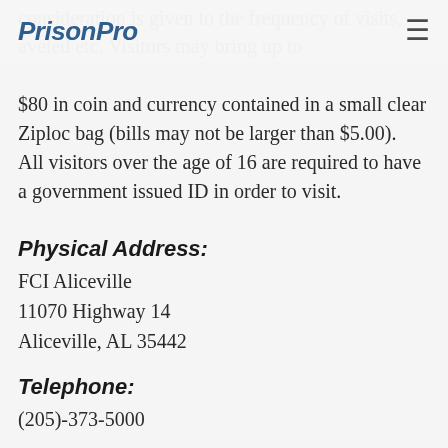PrisonPro
$80 in coin and currency contained in a small clear Ziploc bag (bills may not be larger than $5.00).  All visitors over the age of 16 are required to have a government issued ID in order to visit.
Physical Address:
FCI Aliceville
11070 Highway 14
Aliceville, AL 35442
Telephone:
(205)-373-5000
Inmate Mailing Address:
Inmate Name, Register Number
FCI Aliceville
Federal Correctional Institution
P.O. Box 1000